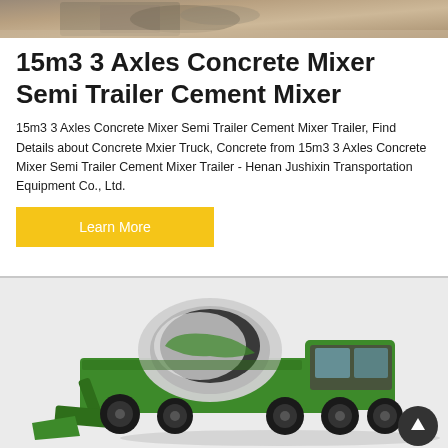[Figure (photo): Top portion of a concrete mixer semi trailer, showing the drum/mixing barrel from above, metallic and gray tones]
15m3 3 Axles Concrete Mixer Semi Trailer Cement Mixer
15m3 3 Axles Concrete Mixer Semi Trailer Cement Mixer Trailer, Find Details about Concrete Mxier Truck, Concrete from 15m3 3 Axles Concrete Mixer Semi Trailer Cement Mixer Trailer - Henan Jushixin Transportation Equipment Co., Ltd.
[Figure (other): Learn More button, yellow/gold background with white text]
[Figure (photo): Green self-loading concrete mixer truck with large drum, cab, and front loader bucket on a light gray background]